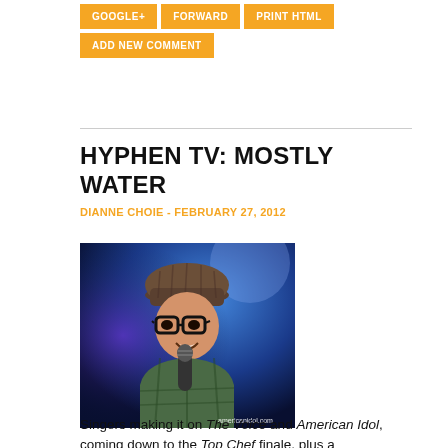[Figure (screenshot): Navigation buttons: GOOGLE+, FORWARD, PRINT HTML, ADD NEW COMMENT in yellow/gold background]
HYPHEN TV: MOSTLY WATER
DIANNE CHOIE - FEBRUARY 27, 2012
[Figure (photo): Photo of a young Asian man wearing glasses and a knit beanie hat, singing into a microphone, with blue stage lighting. Watermark: americanidol.com]
Singers making it on The Voice and American Idol, coming down to the Top Chef finale, plus a